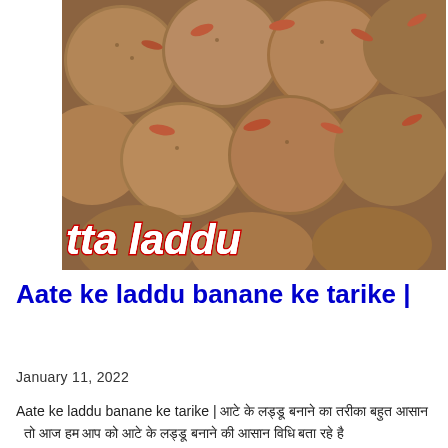[Figure (photo): Close-up photo of atta ke laddu (wheat flour sweet balls) garnished with almonds, with text overlay reading 'atta laddu' in stylized italic font]
Aate ke laddu banane ke tarike |
January 11, 2022
Aate ke laddu banane ke tarike | आटे के लड्डू बनाने का तरीका बहुत आसान   तो आज हम आप को आटे के लड्डू बनाने की आसान विधि बता रहे है